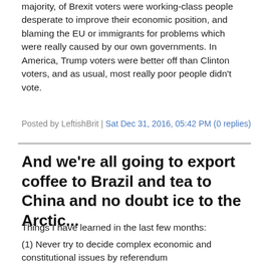majority, of Brexit voters were working-class people desperate to improve their economic position, and blaming the EU or immigrants for problems which were really caused by our own governments. In America, Trump voters were better off than Clinton voters, and as usual, most really poor people didn't vote.
Posted by LeftishBrit | Sat Dec 31, 2016, 05:42 PM (0 replies)
And we're all going to export coffee to Brazil and tea to China and no doubt ice to the Arctic...
Things I have learned in the last few months:
(1) Never try to decide complex economic and constitutional issues by referendum
(2) If you do, at least make sure that you decide a threshold for it in advance, and that it is more than a narrow majority of voters and 50% of constituent states. Make it more like what's required for a constitutional amendment in other countries
(3) Whatever may have been the case 40 years ago, nowadays most